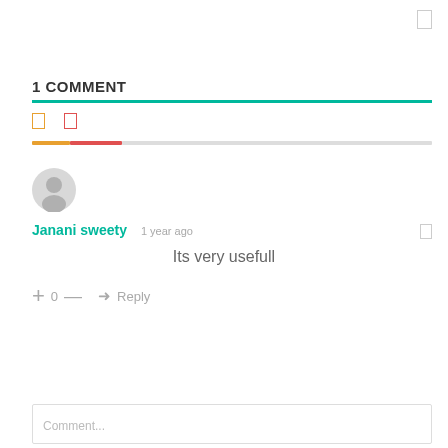1 COMMENT
[Figure (screenshot): Comment section UI with sort icons, progress bar, user avatar, comment by Janani sweety saying 'Its very usefull', vote controls (+0-), and reply button]
Janani sweety   1 year ago
Its very usefull
+ 0 — → Reply